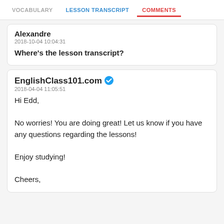VOCABULARY  LESSON TRANSCRIPT  COMMENTS
Alexandre
2018-10-04 10:04:31
Where's the lesson transcript?
EnglishClass101.com
2018-04-04 11:05:51
Hi Edd,

No worries! You are doing great! Let us know if you have any questions regarding the lessons!

Enjoy studying!

Cheers,